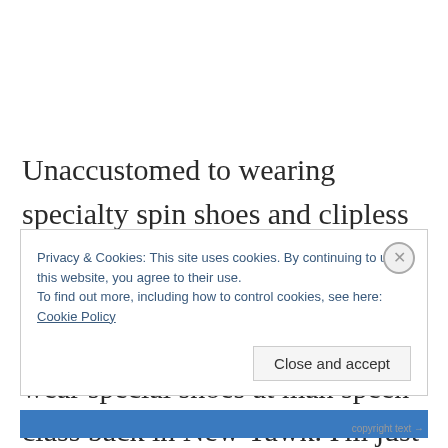Unaccustomed to wearing specialty spin shoes and clipless pedals, I ask a nice dude to my left named Buck to help me out. Buck! I teyl Buck that we don't wear special shoes at mah speen class back in New Yawk. I'm just not used to bein' locked een. What if
Privacy & Cookies: This site uses cookies. By continuing to use this website, you agree to their use.
To find out more, including how to control cookies, see here: Cookie Policy
Close and accept